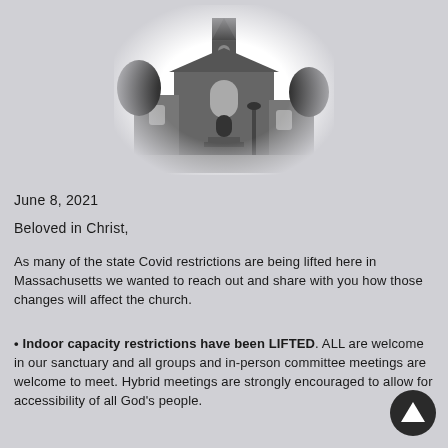[Figure (photo): Black and white photograph of a church building with a steeple, arched windows, and entrance, framed with a vignette effect fading to the grey background.]
June 8, 2021
Beloved in Christ,
As many of the state Covid restrictions are being lifted here in Massachusetts we wanted to reach out and share with you how those changes will affect the church.
• Indoor capacity restrictions have been LIFTED. ALL are welcome in our sanctuary and all groups and in-person committee meetings are welcome to meet. Hybrid meetings are strongly encouraged to allow for accessibility of all God's people.